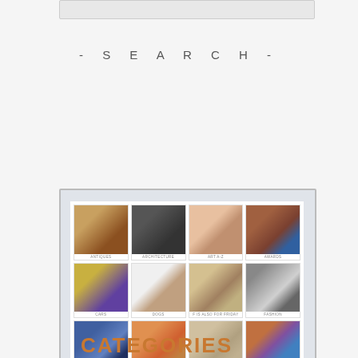[Figure (screenshot): Partial top strip of a website screenshot]
- SEARCH -
[Figure (screenshot): Website screenshot showing a categories grid with 4 columns and 4 rows. Categories visible: ANTIQUES, ARCHITECTURE, ART A-Z, AWARDS (row 1); CARS, DOGS, F IS ALSO FOR FRIDAY, FASHION (row 2); FICTION IN 50, FOOD, JEWELLERY, LIFE (row 3); partial row 4 with comic strip, space, heat map, rotary phone images. Bottom text reads CATEGORIES.]
CATEGORIES